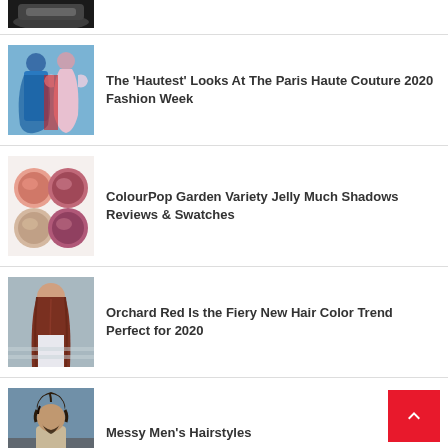[Figure (photo): Partial view of a shoe/sneaker image at top]
[Figure (photo): Fashion photo showing colorful haute couture dresses including blue ruffled gown and pink feathered dress]
The 'Hautest' Looks At The Paris Haute Couture 2020 Fashion Week
[Figure (photo): Four circular containers of ColourPop eyeshadow in pink and nude tones]
ColourPop Garden Variety Jelly Much Shadows Reviews & Swatches
[Figure (photo): Back view of woman with long reddish-brown hair]
Orchard Red Is the Fiery New Hair Color Trend Perfect for 2020
[Figure (photo): Man with messy curly hair wearing a beige coat outdoors]
Messy Men's Hairstyles
[Figure (photo): Partial image at bottom - beginning of next article]